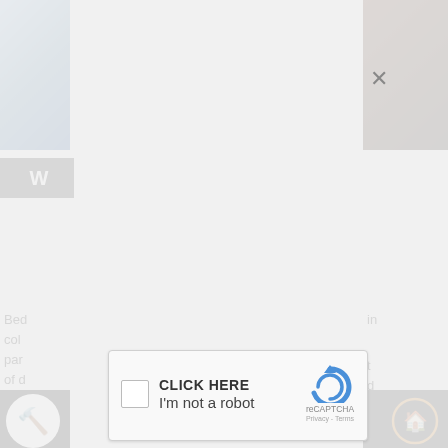[Figure (screenshot): Website screenshot showing a reCAPTCHA CAPTCHA overlay dialog on a webpage. The overlay contains a close button (X) in the upper right, and a CAPTCHA widget with a checkbox, text 'CLICK HERE' and 'I'm not a robot', the reCAPTCHA logo, and 'Privacy - Terms' link. Behind the overlay are partially visible webpage elements including images and text fragments.]
CLICK HERE
I'm not a robot